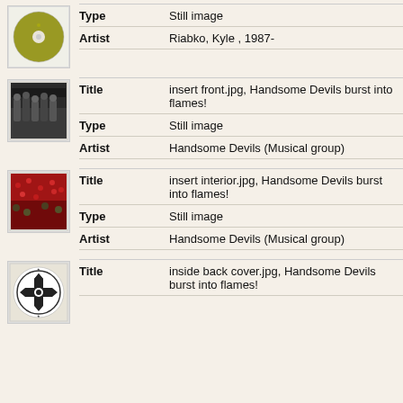| Type | Still image |
| Artist | Riabko, Kyle , 1987- |
| Title | insert front.jpg, Handsome Devils burst into flames! |
| Type | Still image |
| Artist | Handsome Devils (Musical group) |
| Title | insert interior.jpg, Handsome Devils burst into flames! |
| Type | Still image |
| Artist | Handsome Devils (Musical group) |
| Title | inside back cover.jpg, Handsome Devils burst into flames! |